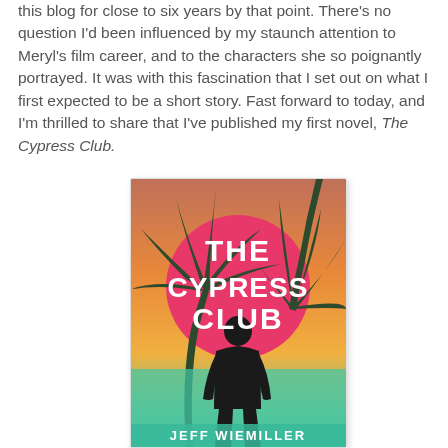this blog for close to six years by that point. There's no question I'd been influenced by my staunch attention to Meryl's film career, and to the characters she so poignantly portrayed. It was with this fascination that I set out on what I first expected to be a short story. Fast forward to today, and I'm thrilled to share that I've published my first novel, The Cypress Club.
[Figure (illustration): Book cover of 'The Cypress Club' by Jeff Wiemiller. Tropical sunset scene with silhouette of a man facing away, palm trees, and a large pink circle. Title text in white bold letters.]